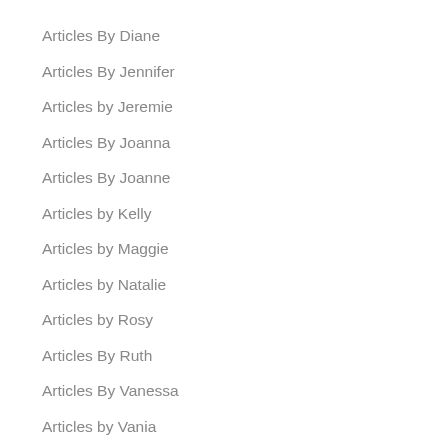Articles By Diane
Articles By Jennifer
Articles by Jeremie
Articles By Joanna
Articles By Joanne
Articles by Kelly
Articles by Maggie
Articles by Natalie
Articles by Rosy
Articles By Ruth
Articles By Vanessa
Articles by Vania
Articles By Zenna